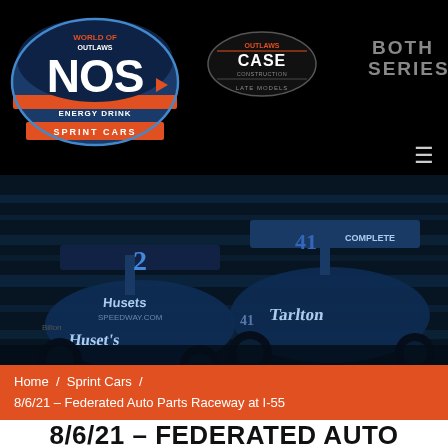[Figure (logo): World of Outlaws NOS Energy Drink Sprint Cars logo — circular blue/orange badge with 'NOS' large text, on black background]
[Figure (logo): World of Outlaws CASE Construction Late Models logo — circular badge, dark, on black background]
BOTH SERIES
[Figure (photo): Blue-tinted action photo of two World of Outlaws sprint cars racing — car #2 (Husets Speedway) and car #41 (Carlson) side by side on a dirt track]
Home / Sprint Cars / 8/6/21 – Federated Auto Parts Raceway at I-55
8/6/21 – FEDERATED AUTO PARTS RACEWAY AT I–55